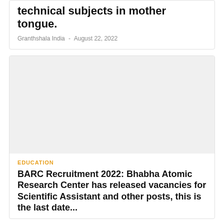technical subjects in mother tongue.
Granthshala India  -  August 22, 2022
[Figure (photo): Article image placeholder for BARC Recruitment 2022 article]
EDUCATION
BARC Recruitment 2022: Bhabha Atomic Research Center has released vacancies for Scientific Assistant and other posts, this is the last date...